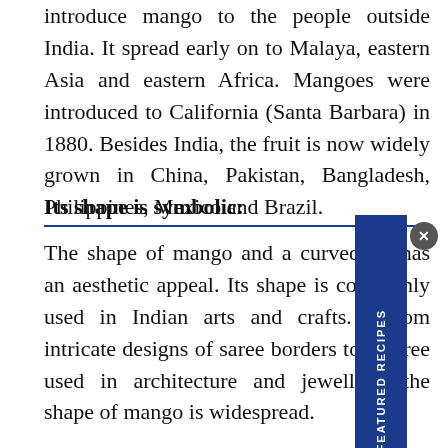introduce mango to the people outside India. It spread early on to Malaya, eastern Asia and eastern Africa. Mangoes were introduced to California (Santa Barbara) in 1880. Besides India, the fruit is now widely grown in China, Pakistan, Bangladesh, Philippines, Mexico and Brazil.
Its shape is symbolic:
The shape of mango and a curved tip has an aesthetic appeal. Its shape is commonly used in Indian arts and crafts. From intricate designs of saree borders to filigree used in architecture and jewellery, the shape of mango is widespread.
But apart from its decorative value, it is also
[Figure (other): Blue vertical ribbon banner overlaid on page content with text 'FEATURED RECIPES' written vertically]